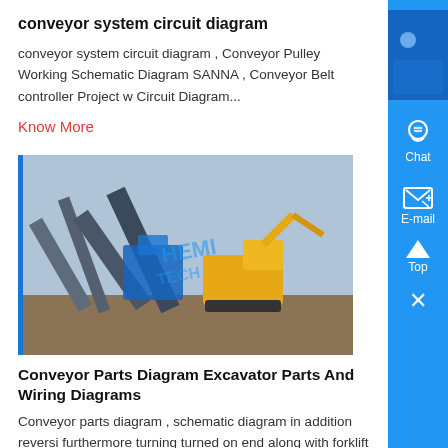conveyor system circuit diagram
conveyor system circuit diagram , Conveyor Pulley Working Schematic Diagram SANNA , Conveyor Belt controller Project w Circuit Diagram...
Know More
[Figure (photo): Industrial conveyor and mining equipment at an outdoor site with blue machinery and excavators]
Conveyor Parts Diagram Excavator Parts And Wiring Diagrams
Conveyor parts diagram , schematic diagram in addition reversi furthermore turning turned on end along with forklift safety poste moreover conveyor belt ....
Know More